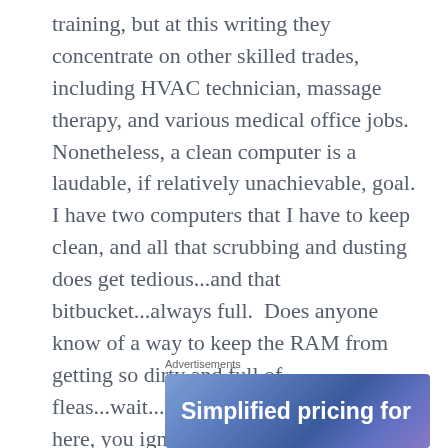training, but at this writing they concentrate on other skilled trades, including HVAC technician, massage therapy, and various medical office jobs.  Nonetheless, a clean computer is a laudable, if relatively unachievable, goal.  I have two computers that I have to keep clean, and all that scrubbing and dusting does get tedious...and that bitbucket...always full.  Does anyone know of a way to keep the RAM from getting so dirty and full of fleas...wait...there it is again...come back here, you ignorant herbivore...there's no ewes over there...!
Advertisements
[Figure (other): Advertisement banner with gradient blue/purple background showing text 'Simplified pricing for']